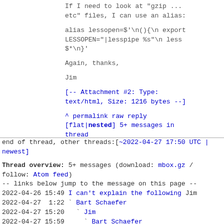If I need to look at "gzip ...
etc" files, I can use an alias:
alias lessopen=$'\n(){\n  export LESSOPEN="|lesspipe %s"\n  less $*\n}'
Again, thanks,

Jim
[-- Attachment #2: Type: text/html, Size: 1216 bytes --]
^ permalink raw reply [flat|nested] 5+ messages in thread
end of thread, other threads:[~2022-04-27 17:50 UTC | newest]
Thread overview: 5+ messages (download: mbox.gz / follow: Atom feed)
-- links below jump to the message on this page --
2022-04-26 15:49 I can't explain the following Jim
2022-04-27  1:22 ` Bart Schaefer
2022-04-27 15:20   ` Jim
2022-04-27 15:59     ` Bart Schaefer
2022-04-27 17:47   ` Jim